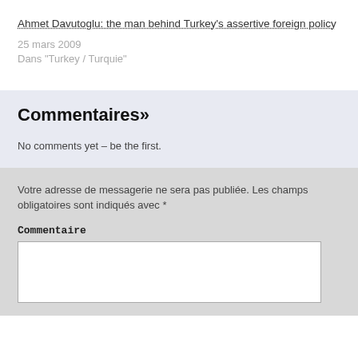Ahmet Davutoglu: the man behind Turkey's assertive foreign policy
25 mars 2009
Dans "Turkey / Turquie"
Commentaires»
No comments yet – be the first.
Votre adresse de messagerie ne sera pas publiée. Les champs obligatoires sont indiqués avec *
Commentaire